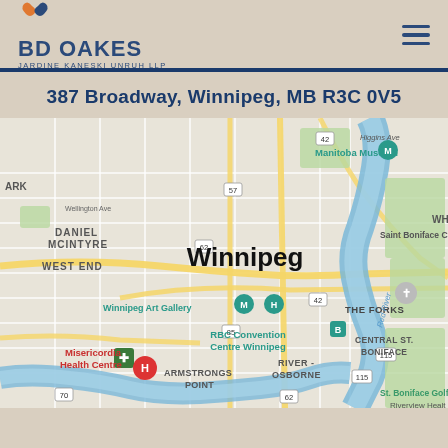BD OAKES JARDINE KANESKI UNRUH LLP
387 Broadway, Winnipeg, MB R3C 0V5
[Figure (map): Google Maps screenshot showing downtown Winnipeg, MB area including landmarks: Manitoba Museum, Winnipeg Art Gallery, RBC Convention Centre Winnipeg, THE FORKS, Misericordia Health Centre, Saint Boniface, DANIEL MCINTYRE, WEST END, ARMSTRONGS POINT, RIVER-OSBORNE, CENTRAL ST. BONIFACE, St. Boniface Golf Club, Riverview Health, Red River visible]